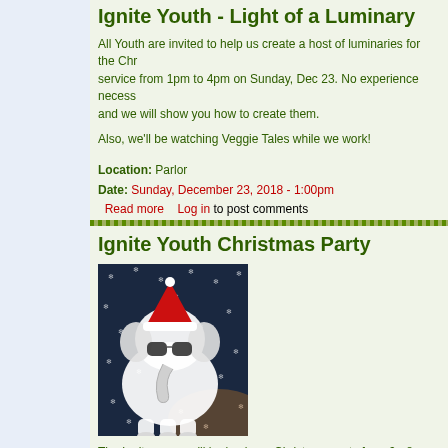Ignite Youth - Light of a Luminary
All Youth are invited to help us create a host of luminaries for the Christmas Eve service from 1pm to 4pm on Sunday, Dec 23. No experience necessary! Come join us and we will show you how to create them.
Also, we'll be watching Veggie Tales while we work!
Location: Parlor
Date: Sunday, December 23, 2018 - 1:00pm
Read more    Log in to post comments
Ignite Youth Christmas Party
[Figure (illustration): Cartoon white elephant wearing a Santa hat and sunglasses, with a snowflake winter background]
The Ignite group will be having a Christmas party from 6 - 8 pm - Foo
Bring a White Elephant Gift to Exchange. (A White Elephant Gift is so you do not want - hopefully something funny. Please do NOT purcha